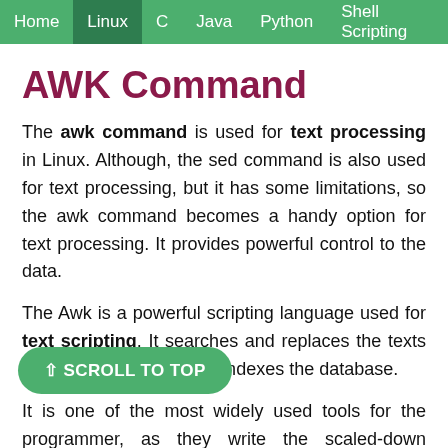Home  Linux  C  Java  Python  Shell Scripting
AWK Command
The awk command is used for text processing in Linux. Although, the sed command is also used for text processing, but it has some limitations, so the awk command becomes a handy option for text processing. It provides powerful control to the data.
The Awk is a powerful scripting language used for text scripting. It searches and replaces the texts and sorts, validates, and indexes the database.
It is one of the most widely used tools for the programmer, as they write the scaled-down programs in the form of a statement to define the text patterns and designs.